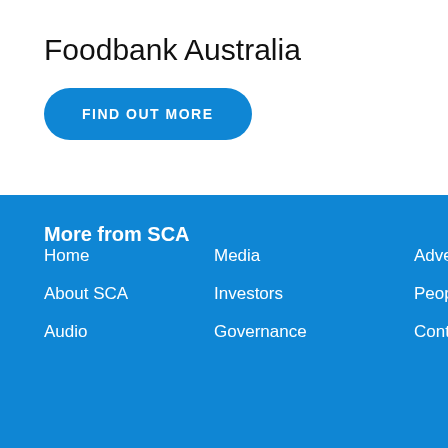Foodbank Australia
FIND OUT MORE
More from SCA
Home
Media
Advertise
About SCA
Investors
People
Audio
Governance
Contact Us